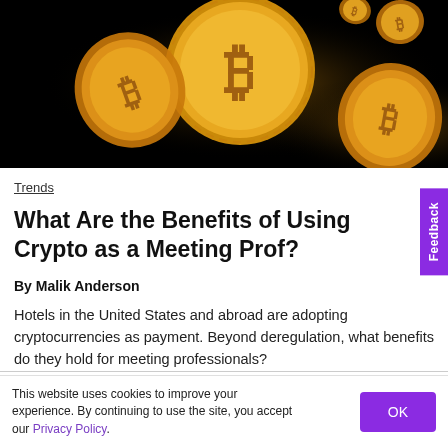[Figure (photo): Bitcoin gold coins floating on a black background — a large Bitcoin coin in the center with the ₿ symbol, smaller coins around it glowing gold.]
Trends
What Are the Benefits of Using Crypto as a Meeting Prof?
By Malik Anderson
Hotels in the United States and abroad are adopting cryptocurrencies as payment. Beyond deregulation, what benefits do they hold for meeting professionals?
This website uses cookies to improve your experience. By continuing to use the site, you accept our Privacy Policy.